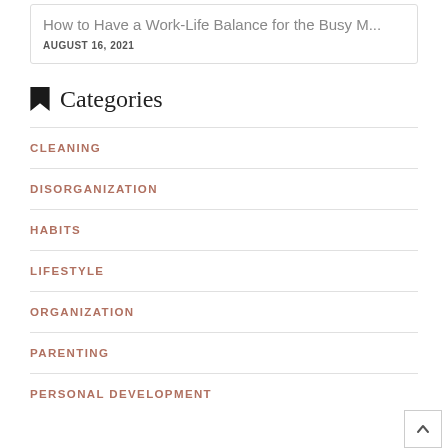How to Have a Work-Life Balance for the Busy M...
AUGUST 16, 2021
Categories
CLEANING
DISORGANIZATION
HABITS
LIFESTYLE
ORGANIZATION
PARENTING
PERSONAL DEVELOPMENT